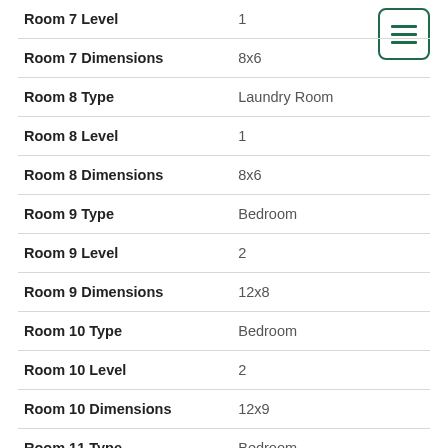| Field | Value |
| --- | --- |
| Room 7 Level | 1 |
| Room 7 Dimensions | 8x6 |
| Room 8 Type | Laundry Room |
| Room 8 Level | 1 |
| Room 8 Dimensions | 8x6 |
| Room 9 Type | Bedroom |
| Room 9 Level | 2 |
| Room 9 Dimensions | 12x8 |
| Room 10 Type | Bedroom |
| Room 10 Level | 2 |
| Room 10 Dimensions | 12x9 |
| Room 11 Type | Bedroom |